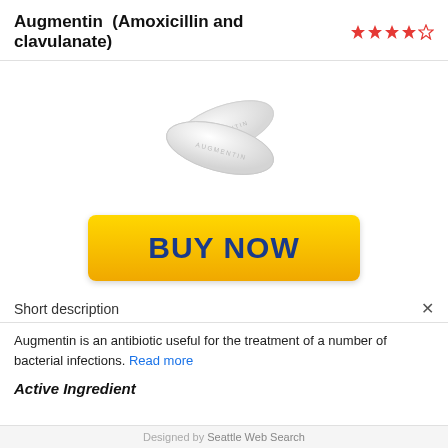Augmentin (Amoxicillin and clavulanate) ★★★★☆
[Figure (photo): Two white oval Augmentin tablets/pills shown crossed over each other on a white background, with 'AUGMENTIN' imprinted on one tablet.]
[Figure (other): Yellow gradient 'BUY NOW' button with dark blue bold text.]
Short description
Augmentin is an antibiotic useful for the treatment of a number of bacterial infections. Read more
Active Ingredient
Designed by Seattle Web Search